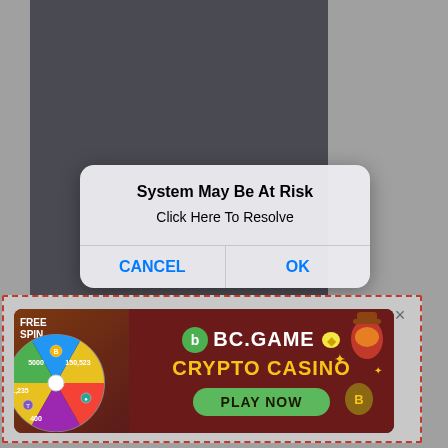[Figure (screenshot): iOS-style system alert dialog overlaying a dark app screen. The dialog reads 'System May Be At Risk' with subtitle 'Click Here To Resolve' and two buttons: CANCEL and OK (both in blue). Below the dialog is an advertisement banner for BC.GAME Crypto Casino with dashed red border, showing 'FREE SPIN', a spinning wheel graphic, the BC.GAME logo, 'CRYPTO CASINO' text in yellow, and a 'PLAY NOW' green button. A close (×) button appears at top-right of the ad.]